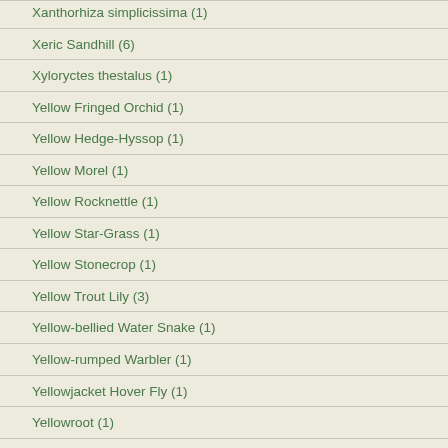Xanthorhiza simplicissima (1)
Xeric Sandhill (6)
Xyloryctes thestalus (1)
Yellow Fringed Orchid (1)
Yellow Hedge-Hyssop (1)
Yellow Morel (1)
Yellow Rocknettle (1)
Yellow Star-Grass (1)
Yellow Stonecrop (1)
Yellow Trout Lily (3)
Yellow-bellied Water Snake (1)
Yellow-rumped Warbler (1)
Yellowjacket Hover Fly (1)
Yellowroot (1)